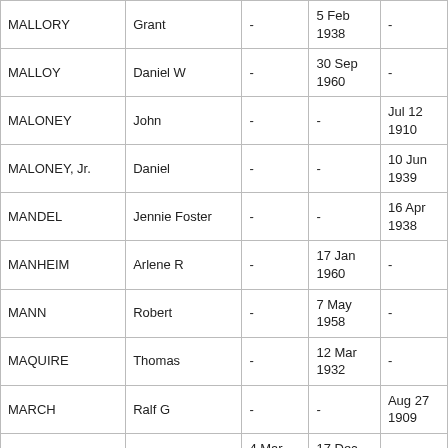| Last Name | First Name | Col3 | Col4 | Col5 |
| --- | --- | --- | --- | --- |
| MALLORY | Grant | - | 5 Feb
1938 | - |
| MALLOY | Daniel W | - | 30 Sep
1960 | - |
| MALONEY | John | - | - | Jul 12 1910 |
| MALONEY, Jr. | Daniel | - | - | 10 Jun 1939 |
| MANDEL | Jennie Foster | - | - | 16 Apr 1938 |
| MANHEIM | Arlene R | - | 17 Jan
1960 | - |
| MANN | Robert | - | 7 May
1958 | - |
| MAQUIRE | Thomas | - | 12 Mar
1932 | - |
| MARCH | Ralf G | - | - | Aug 27 1909 |
| MARCHUK | Harry F | 4 Mar
1894 | 17 Dec
1951 | - |
| MARES | Frank J | - | 9 Aug
1966 | - |
| MARES | Rose | - | - | 23 Jun 1923 |